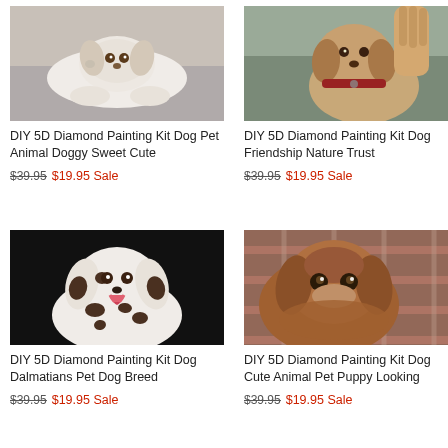[Figure (photo): White dog lying down on floor, looking at camera]
DIY 5D Diamond Painting Kit Dog Pet Animal Doggy Sweet Cute
$39.95 $19.95 Sale
[Figure (photo): Dog wearing a red collar, close-up with hand visible]
DIY 5D Diamond Painting Kit Dog Friendship Nature Trust
$39.95 $19.95 Sale
[Figure (photo): Dalmatian dog with tongue out against black background]
DIY 5D Diamond Painting Kit Dog Dalmatians Pet Dog Breed
$39.95 $19.95 Sale
[Figure (photo): Brown puppy resting chin on surface, looking up with sad eyes, plaid blanket in background]
DIY 5D Diamond Painting Kit Dog Cute Animal Pet Puppy Looking
$39.95 $19.95 Sale